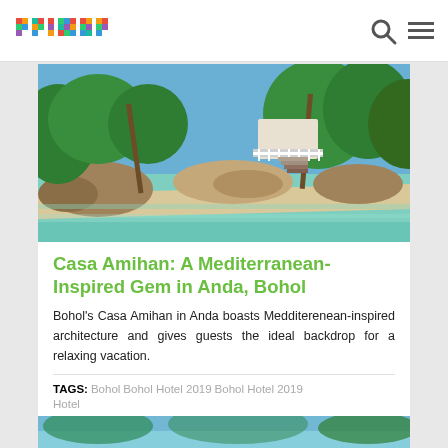primer
[Figure (photo): Aerial/ground-level photograph of a tropical beach with clear turquoise water, white sand, rocky formations, lush green palm trees, and a white-railed structure in the background.]
Casa Amihan: A Mediterranean-Inspired Gem in Anda, Bohol
Bohol's Casa Amihan in Anda boasts Medditerenean-inspired architecture and gives guests the ideal backdrop for a relaxing vacation.
TAGS: Bohol   Bohol Hotel 2019   Bohol Hotel 2019 Hotel